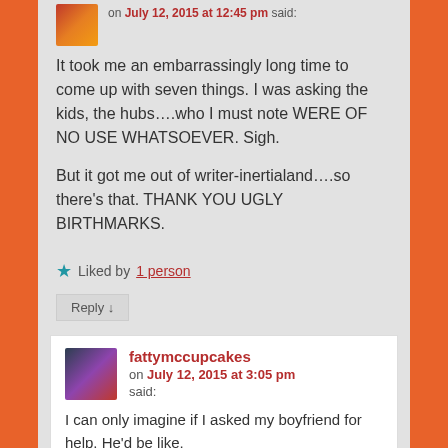on July 12, 2015 at 12:45 pm said:
It took me an embarrassingly long time to come up with seven things. I was asking the kids, the hubs….who I must note WERE OF NO USE WHATSOEVER. Sigh.
But it got me out of writer-inertialand….so there's that. THANK YOU UGLY BIRTHMARKS.
★ Liked by 1 person
Reply ↓
fattymccupcakes on July 12, 2015 at 3:05 pm said:
I can only imagine if I asked my boyfriend for help. He'd be like,